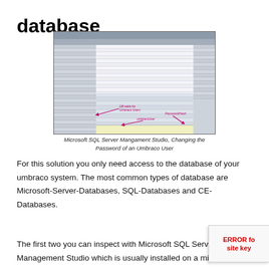database
[Figure (screenshot): Microsoft SQL Server Management Studio screenshot showing the interface for changing the password of an Umbraco user, with pink arrows pointing to relevant UI elements labeled 'DB-table for Umbraco Users', 'umbracoUser', and 'Password/Hash'.]
Microsoft SQL Server Mangament Studio, Changing the Password of an Umbraco User
For this solution you only need access to the database of your umbraco system. The most common types of database are Microsoft-Server-Databases, SQL-Databases and CE-Databases.
The first two you can inspect with Microsoft SQL Server Management Studio which is usually installed on a microsoft